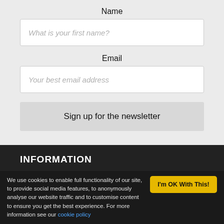Name
[Figure (screenshot): Input field with placeholder text: What is your first name?]
Email
[Figure (screenshot): Input field with placeholder text: Your best email address]
Sign up for the newsletter
INFORMATION
About
Terms & Conditions
We use cookies to enable full functionality of our site, to provide social media features, to anonymously analyse our website traffic and to customise content to ensure you get the best experience. For more information see our cookie policy
I'm OK With This!